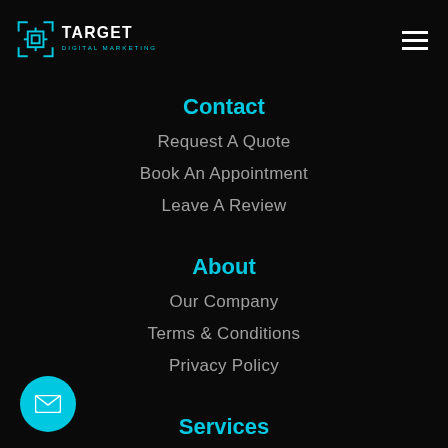[Figure (logo): Target Digital Marketing logo with cyan/blue icon and white text on black background]
Contact
Request A Quote
Book An Appointment
Leave A Review
About
Our Company
Terms & Conditions
Privacy Policy
Services
Search Engine Optimization
Google My Business
[Figure (illustration): Cyan circular email/envelope button in bottom-left corner]